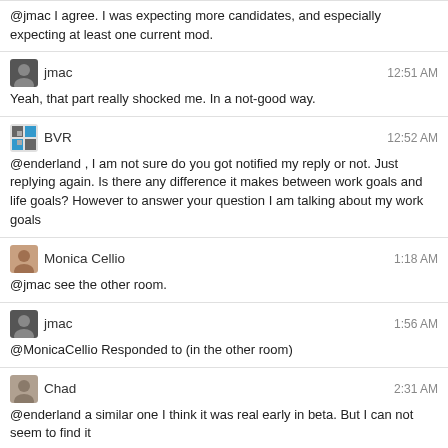@jmac I agree. I was expecting more candidates, and especially expecting at least one current mod.
jmac 12:51 AM
Yeah, that part really shocked me. In a not-good way.
BVR 12:52 AM
@enderland , I am not sure do you got notified my reply or not. Just replying again. Is there any difference it makes between work goals and life goals? However to answer your question I am talking about my work goals
Monica Cellio 1:18 AM
@jmac see the other room.
jmac 1:56 AM
@MonicaCellio Responded to (in the other room)
Chad 2:31 AM
@enderland a similar one I think it was real early in beta. But I can not seem to find it
enderland 2:48 AM
@BVR sorry, I think I missed that - I think work goals are easier to incorporate into "how can I tell if my work is meeting my goals" and a lot more on topic than, "how can I tell if my job is meeting my life goals"
Chad 2:54 AM
@jmac Its only Wedensday... I am really hoping that the current mod crew are just waiting for the weekend so as not to scare off anyone considering running but not wanting to compete with them.
The message from the exhibit I think would like to answer it is really...